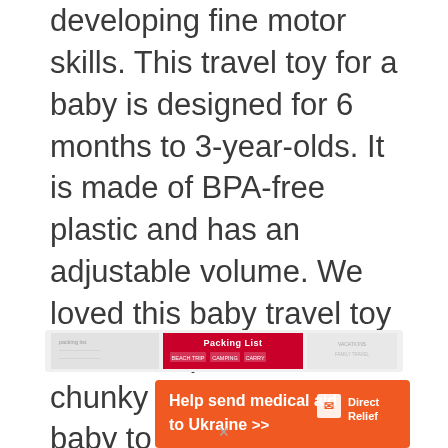developing fine motor skills. This travel toy for a baby is designed for 6 months to 3-year-olds. It is made of BPA-free plastic and has an adjustable volume. We loved this baby travel toy on road trips because it is chunky and easy for the baby to hold and interact with, providing hours of entertainment as you travel.
[Figure (screenshot): A thin advertisement banner strip showing a packing list image with red header and document sections]
[Figure (infographic): Orange Direct Relief advertisement banner reading 'Help send medical aid to Ukraine >>' with Direct Relief logo on the right]